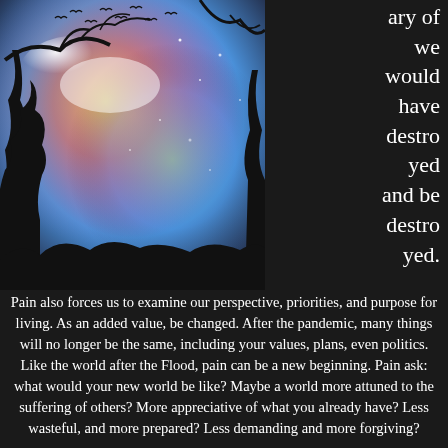[Figure (photo): A colorful artistic photo of a night/twilight sky with rainbow nebula-like colors (pink, blue, yellow, green, orange), silhouettes of tree branches in the foreground, and birds flying across the sky.]
ary of we would have destroyed and be destroyed.
Pain also forces us to examine our perspective, priorities, and purpose for living. As an added value, be changed. After the pandemic, many things will no longer be the same, including your values, plans, even politics. Like the world after the Flood, pain can be a new beginning. Pain ask: what would your new world be like? Maybe a world more attuned to the suffering of others? More appreciative of what you already have? Less wasteful, and more prepared? Less demanding and more forgiving?